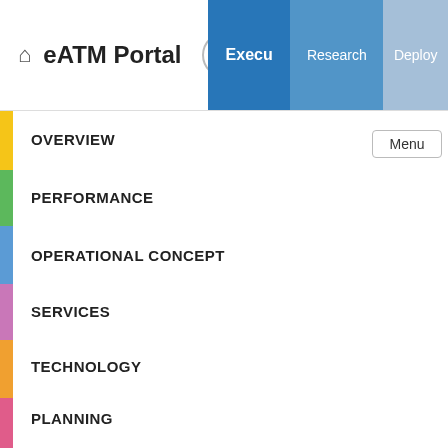eATM Portal — Executive / Research / Deploy tabs
OVERVIEW
PERFORMANCE
OPERATIONAL CONCEPT
SERVICES
TECHNOLOGY
PLANNING
SESAR Solutions SOL
Integrated Roadmap
Operational Improvement Steps OI
Menu
/ Operational Improvement Steps /
CM-0103-A — Automated
⊟ B1
B1-NOPS
Last data refresh: 16-08-2022 / Portal version: 1.0.85.4.4170 (LDB)